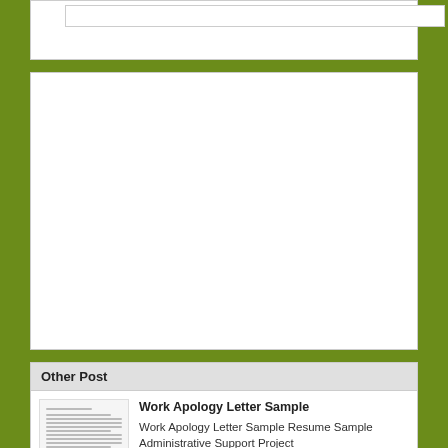[Figure (screenshot): Top white content box area partially visible at top of page]
[Figure (screenshot): Large white empty advertisement or content box in the middle of the page]
Other Post
[Figure (screenshot): Thumbnail image of a document - Work Apology Letter Sample]
Work Apology Letter Sample
Work Apology Letter Sample Resume Sample Administrative Support Project